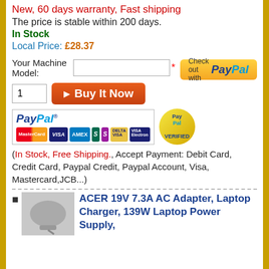New, 60 days warranty, Fast shipping
The price is stable within 200 days.
In Stock
Local Price: £28.37
Your Machine Model:
[Figure (screenshot): PayPal checkout button (yellow gradient) with 'Check out with PayPal' text]
1
[Figure (screenshot): Buy It Now red button with play arrow]
[Figure (screenshot): PayPal payment panel showing PayPal logo, card icons (MasterCard, Visa, AMEX, Sage, Delta, Visa Electron) and PayPal Verified gold badge]
(In Stock, Free Shipping., Accept Payment: Debit Card, Credit Card, Paypal Credit, Paypal Account, Visa, Mastercard,JCB...)
ACER 19V 7.3A AC Adapter, Laptop Charger, 139W Laptop Power Supply,